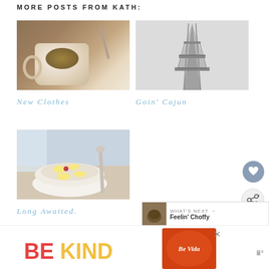MORE POSTS FROM KATH:
[Figure (photo): A mug with granola or oatmeal and a spoon, on a wooden table]
[Figure (photo): Black and white photo of the Eiffel Tower viewed from below]
New Clothes
Goin' Cajun
[Figure (photo): A bowl of oatmeal topped with banana slices and berries, with a spoon beside it]
Long Awaited.
[Figure (other): Heart/like button (circular grey icon with heart)]
[Figure (other): Share button (circular light icon with share symbol)]
WHAT'S NEXT → Feelin' Choffy
[Figure (photo): BE KIND advertisement banner with decorative Be Vida image]